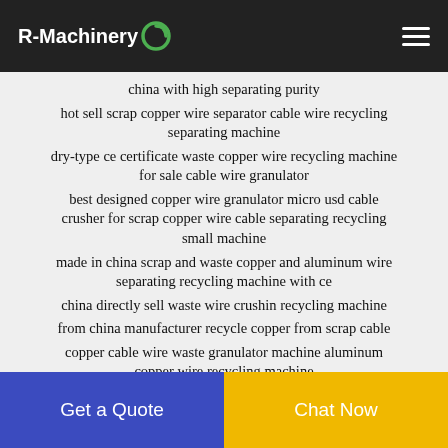R-Machinery
china with high separating purity
hot sell scrap copper wire separator cable wire recycling separating machine
dry-type ce certificate waste copper wire recycling machine for sale cable wire granulator
best designed copper wire granulator micro usd cable crusher for scrap copper wire cable separating recycling small machine
made in china scrap and waste copper and aluminum wire separating recycling machine with ce
china directly sell waste wire crushin recycling machine
from china manufacturer recycle copper from scrap cable
copper cable wire waste granulator machine aluminum copper wire recycling machine